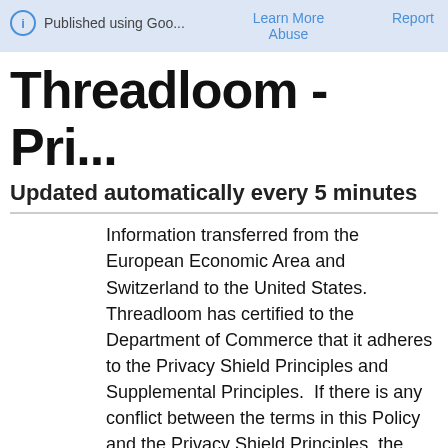Published using Goo...   Learn More   Report Abuse
Threadloom - Pri...
Updated automatically every 5 minutes
Information transferred from the European Economic Area and Switzerland to the United States. Threadloom has certified to the Department of Commerce that it adheres to the Privacy Shield Principles and Supplemental Principles.  If there is any conflict between the terms in this Policy and the Privacy Shield Principles, the Privacy Shield Principles shall govern.  To learn more about the Privacy Shield program, and to view Threadloom's certification,